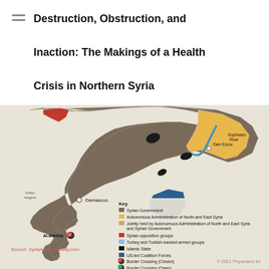Destruction, Obstruction, and Inaction: The Makings of a Health Crisis in Northern Syria
[Figure (map): Map of Syria showing territorial control zones: Syrian Government (brown/dark), Autonomous Administration of North and East Syria (yellow/orange), Jointly held by Autonomous Administration of North and East Syria and Syrian government (light brown), Syrian opposition groups (red), Turkey and Turkish-backed armed groups (light blue), Islamic State (black), US-led coalition forces (blue). Map also shows border crossings (closed and open), cities including Damascus, Deir Ezzor, Al-Bantha, Golan Heights region, and the Euphrates River.]
Source: Syria Accountability.com